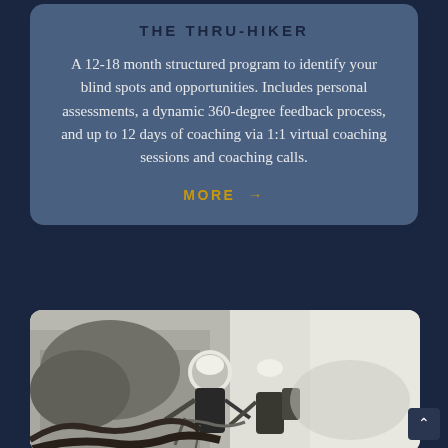THE THRU-HIKER
A 12-18 month structured program to identify your blind spots and opportunities. Includes personal assessments, a dynamic 360-degree feedback process, and up to 12 days of coaching via 1:1 virtual coaching sessions and coaching calls.
MORE →
[Figure (photo): Black and white photograph of two people wearing helmets climbing or working on a rocky surface with equipment, taken outdoors.]